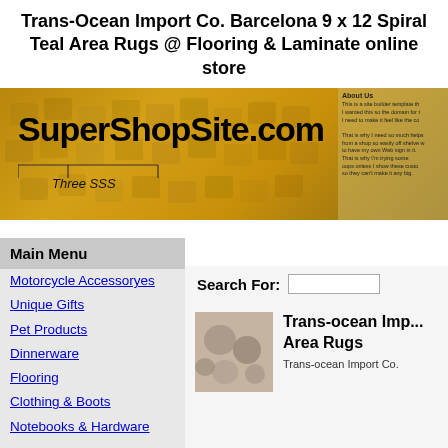Trans-Ocean Import Co. Barcelona 9 x 12 Spiral Teal Area Rugs @ Flooring & Laminate online store
[Figure (screenshot): SuperShopSite.com website banner with golden/amber background showing keyboard keys, logo text, Three SSS label, and a right panel with small text]
Main Menu
Motorcycle Accessoryes
Unique Gifts
Pet Products
Dinnerware
Flooring
Clothing & Boots
Notebooks & Hardware
Search For:
Trans-ocean Imp... Area Rugs
Trans-ocean Import Co.